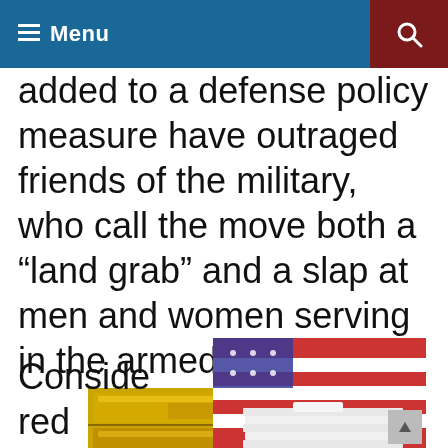Menu
added to a defense policy measure have outraged friends of the military, who call the move both a “land grab” and a slap at men and women serving in the armed forces.
[Figure (photo): Close-up photo of gold bars/bullion stacked together]
Conside red
[Figure (photo): Photo showing an American flag in the background with papers or documents stacked in the foreground]